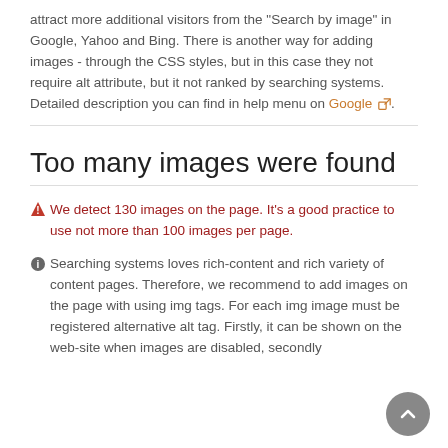attract more additional visitors from the "Search by image" in Google, Yahoo and Bing. There is another way for adding images - through the CSS styles, but in this case they not require alt attribute, but it not ranked by searching systems. Detailed description you can find in help menu on Google.
Too many images were found
▲ We detect 130 images on the page. It's a good practice to use not more than 100 images per page.
ℹ Searching systems loves rich-content and rich variety of content pages. Therefore, we recommend to add images on the page with using img tags. For each img image must be registered alternative alt tag. Firstly, it can be shown on the web-site when images are disabled, secondly